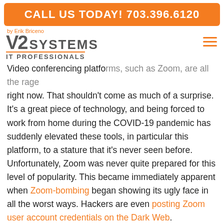CALL US TODAY! 703.396.6120
[Figure (logo): V2 Systems IT Professionals logo with 'by Erik Briceno' tagline and hamburger menu icon]
Video conferencing platforms, such as Zoom, are all the rage right now. That shouldn't come as much of a surprise. It's a great piece of technology, and being forced to work from home during the COVID-19 pandemic has suddenly elevated these tools, in particular this platform, to a stature that it's never seen before. Unfortunately, Zoom was never quite prepared for this level of popularity. This became immediately apparent when Zoom-bombing began showing its ugly face in all the worst ways. Hackers are even posting Zoom user account credentials on the Dark Web.
The good news is, Zoom finally bumped up its security. But these improvements are not without a few bumps of their own.